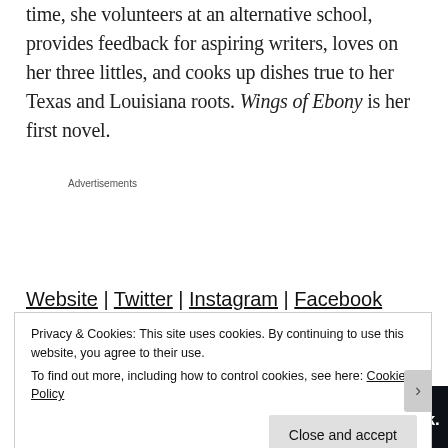time, she volunteers at an alternative school, provides feedback for aspiring writers, loves on her three littles, and cooks up dishes true to her Texas and Louisiana roots. Wings of Ebony is her first novel.
[Figure (other): Advertisement banner: dark background with logo showing two small squares and the number 2, followed by bold white text 'Fewer meetings, more work.']
Website | Twitter | Instagram | Facebook
Privacy & Cookies: This site uses cookies. By continuing to use this website, you agree to their use.
To find out more, including how to control cookies, see here: Cookie Policy